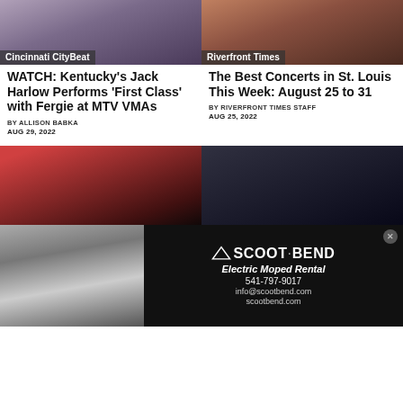[Figure (photo): Cincinnati CityBeat article thumbnail showing performers at MTV VMAs]
Cincinnati CityBeat
[Figure (photo): Riverfront Times article thumbnail showing a performer]
Riverfront Times
WATCH: Kentucky's Jack Harlow Performs 'First Class' with Fergie at MTV VMAs
BY ALLISON BABKA
AUG 29, 2022
The Best Concerts in St. Louis This Week: August 25 to 31
BY RIVERFRONT TIMES STAFF
AUG 25, 2022
[Figure (photo): Group photo of music artists in red shirts against dark backdrop]
[Figure (photo): Dark moody photo of a long-haired man with glasses]
[Figure (photo): Advertisement photo of person with electric mopeds outdoors]
SCOOT·BEND
Electric Moped Rental
541-797-9017
info@scootbend.com
scootbend.com